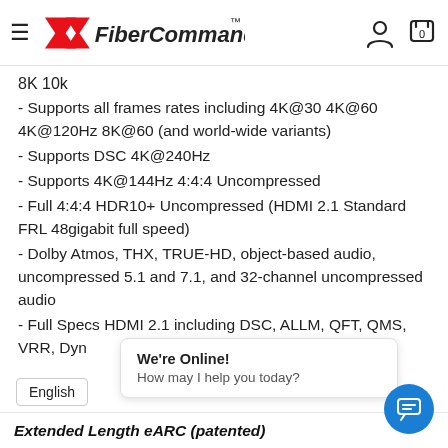FiberCommand™
8K 10k
- Supports all frames rates including 4K@30 4K@60 4K@120Hz 8K@60 (and world-wide variants)
- Supports DSC 4K@240Hz
- Supports 4K@144Hz 4:4:4 Uncompressed
- Full 4:4:4 HDR10+ Uncompressed (HDMI 2.1 Standard FRL 48gigabit full speed)
- Dolby Atmos, THX, TRUE-HD, object-based audio, uncompressed 5.1 and 7.1, and 32-channel uncompressed audio
- Full Specs HDMI 2.1 including DSC, ALLM, QFT, QMS, VRR, Dyn…
We're Online! How may I help you today?
English
Extended Length eARC (patented)